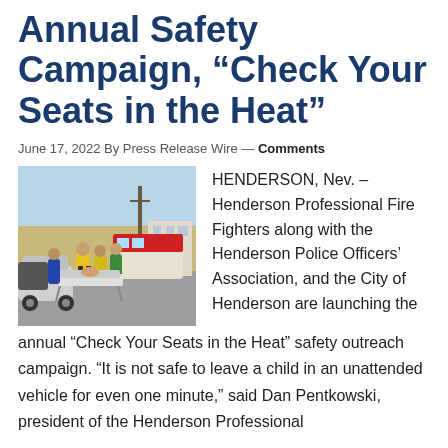Annual Safety Campaign, “Check Your Seats in the Heat”
June 17, 2022 By Press Release Wire — Comments
[Figure (photo): Firefighters and emergency responders attending to a person on a stretcher next to a car in a sunny desert parking lot, with an emergency vehicle in background.]
HENDERSON, Nev. – Henderson Professional Fire Fighters along with the Henderson Police Officers’ Association, and the City of Henderson are launching the annual “Check Your Seats in the Heat” safety outreach campaign. “It is not safe to leave a child in an unattended vehicle for even one minute,” said Dan Pentkowski, president of the Henderson Professional